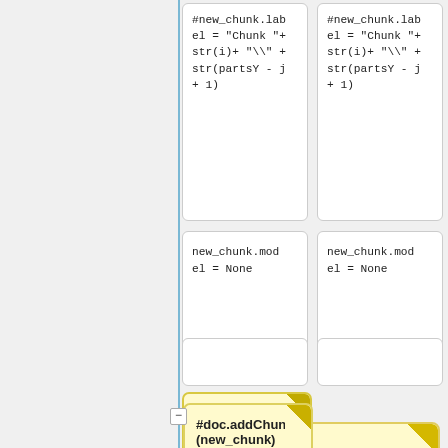[Figure (screenshot): Code diff/flowchart view showing two columns of code blocks. Left column: code boxes with '#new_chunk.label = "Chunk "+ str(i)+ "\\" + str(partsY - j + 1)', 'new_chunk.model = None', a yellow highlighted box '#doc.addChunk(new_chunk) #uncomment in the version 1.1.6', an empty box, and 'new_region = PhotoScan.Region()'. Right column: same code boxes mirrored. A blue vertical line separates left panel from the code columns. Bottom shows 'Line 181:' and 'Line 180:' labels.]
#new_chunk.label = "Chunk "+ str(i)+ "\\" + str(partsY - j + 1)
new_chunk.model = None
#doc.addChunk(new_chunk) #uncomment in the version 1.1.6
new_region = PhotoScan.Region()
Line 181:
Line 180: